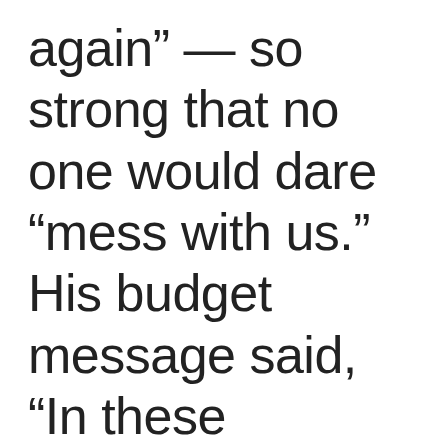again” — so strong that no one would dare “mess with us.” His budget message said, “In these dangerous times,